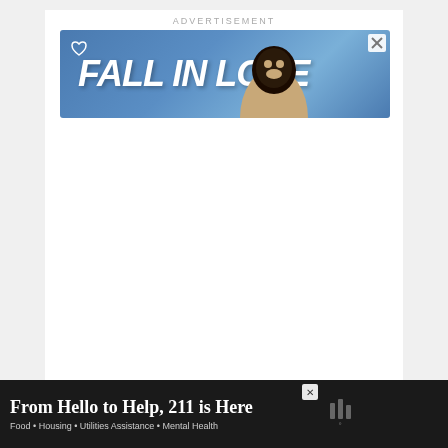ADVERTISEMENT
[Figure (illustration): Blue banner advertisement with text 'FALL IN LOVE' in large bold italic white font, a white heart outline icon on the left, and a dog (Rottweiler/dark breed) wearing headphones on the right side. Close button X in top right corner.]
[Figure (illustration): Floating action button: yellow/gold circle with white heart icon, with the number '1' below it, and a white circle share icon below that.]
[Figure (illustration): What's Next widget with thumbnail image of Australian Shepherd dog, orange arrow label 'WHAT'S NEXT →', and text 'Australian Shepherd...']
[Figure (illustration): Bottom banner advertisement: dark background with text 'From Hello to Help, 211 is Here' and subtitle 'Food • Housing • Utilities Assistance • Mental Health', with close X button and a logo on the right.]